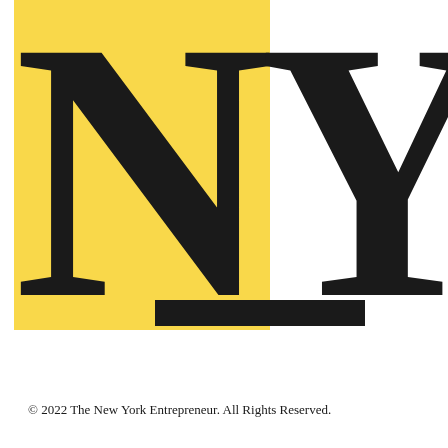[Figure (logo): NY logo: large bold serif letters N and Y side by side. The N sits on a yellow rectangle background cropped at top and left. The Y is on white background. A thick black horizontal bar sits centered between and below the two letters. The overall design is a stylized brand mark for The New York Entrepreneur.]
© 2022 The New York Entrepreneur. All Rights Reserved.